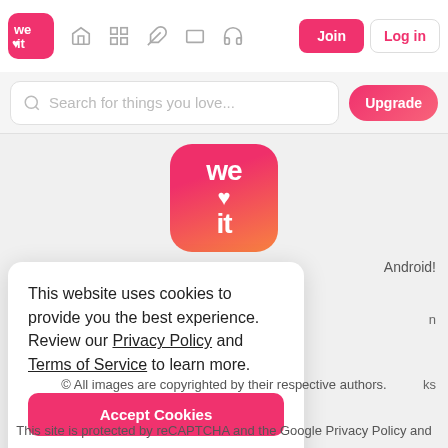[Figure (logo): We Heart It navigation bar logo, pink square with 'we ♥ it' text in white]
[Figure (screenshot): Navigation icons: home, grid, feather/write, rectangle, headphones]
Join
Log in
Search for things you love...
Upgrade
[Figure (logo): We Heart It large centered logo, pink-to-orange gradient rounded square with 'we ♥ it' in white]
Android!
This website uses cookies to provide you the best experience. Review our Privacy Policy and Terms of Service to learn more.
Accept Cookies
Only users 16 years or older may use We Heart It.
© All images are copyrighted by their respective authors.
This site is protected by reCAPTCHA and the Google Privacy Policy and